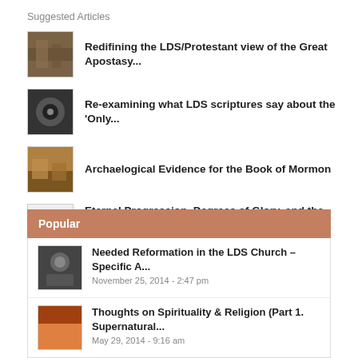Suggested Articles
Redifining the LDS/Protestant view of the Great Apostasy...
Re-examining what LDS scriptures say about the 'Only...
Archaelogical Evidence for the Book of Mormon
Eternal Progression, Degrees of Glory, and the Resurrection: A Comparative...
Popular
Needed Reformation in the LDS Church – Specific A...
November 25, 2014 - 2:47 pm
Thoughts on Spirituality & Religion (Part 1. Supernatural...
May 29, 2014 - 9:16 am